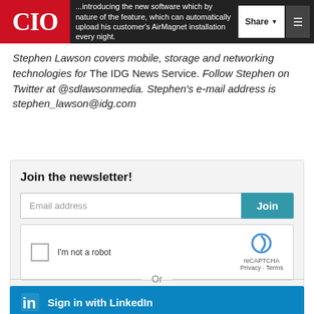CIO | ...introducing the new software which by nature of the feature, which can automatically upload his customer's AirMagnet installation every night.
Stephen Lawson covers mobile, storage and networking technologies for The IDG News Service. Follow Stephen on Twitter at @sdlawsonmedia. Stephen's e-mail address is stephen_lawson@idg.com
Join the newsletter!
Email address
Join
[Figure (other): reCAPTCHA widget with checkbox labeled 'I'm not a robot' and reCAPTCHA logo with Privacy and Terms links]
Or
[Figure (other): LinkedIn sign-in button with LinkedIn logo and text 'Sign in with LinkedIn']